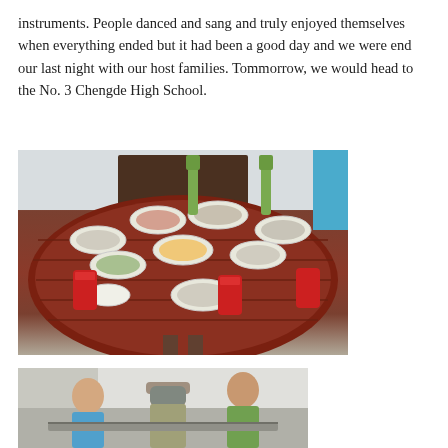instruments. People danced and sang and truly enjoyed themselves when everything ended but it had been a good day and we were end our last night with our host families. Tommorrow, we would head to the No. 3 Chengde High School.
[Figure (photo): A round dining table covered with many plates of food including dumplings and various dishes, with beer bottles and Coca-Cola cans on the table.]
[Figure (photo): Two or three people leaning over a surface, one wearing a hat and checkered shirt, one in a blue shirt with glasses, and one in a green shirt.]